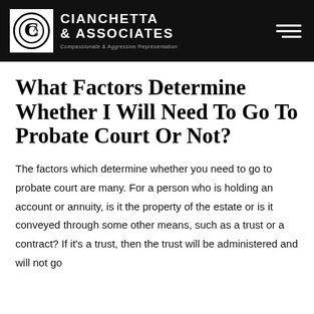CIANCHETTA & ASSOCIATES — Compassionate & Aggressive Representation
What Factors Determine Whether I Will Need To Go To Probate Court Or Not?
The factors which determine whether you need to go to probate court are many. For a person who is holding an account or annuity, is it the property of the estate or is it conveyed through some other means, such as a trust or a contract? If it's a trust, then the trust will be administered and will not go